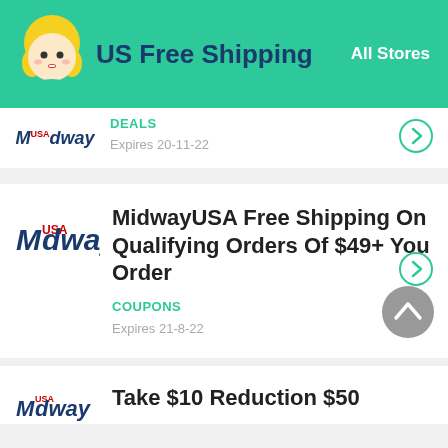US Free Shipping — All Stores
Midway — DEALS — Expires 20-11-22
MidwayUSA Free Shipping On Qualifying Orders Of $49+ You Order
COUPONS
Expires 21-8-22
Take $10 Reduction $50